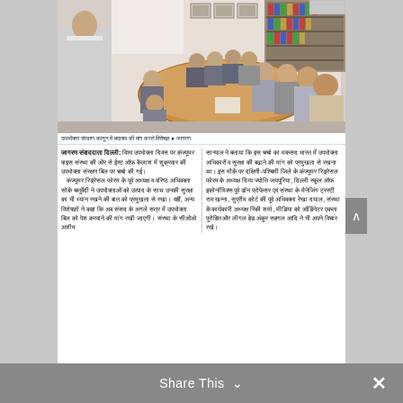[Figure (photo): A meeting room scene with a man standing and presenting to a group of people seated around a large oval conference table. The room has shelves and pictures on the walls.]
उपभोक्ता संरक्षण कानून में बदलाव की मांग करते विशेषज्ञ ● जागरण
जागरण संवाददाता दिल्ली: विश्व उपभोक्ता दिवस पर कंज्यूमर वाइस संस्था की ओर से ईस्ट ऑफ कैलाश में शुक्रवार की उपभोक्ता संरक्षण बिल पर चर्चा की गई। कंज्यूमर रिड्रेसल फोरम के पूर्व अध्यक्ष व वरिष्ठ अधिवक्ता सोके चतुर्वेदी ने उपभोक्ताओं को उत्पाद के साथ उनकी सुरक्षा का भी ध्यान रखने की बात को प्रमुखता से रखा। वहीं, अन्य विशेषज्ञों ने कहा कि अब संसद के अगले सत्र में उपभोक्ता बिल को पेश करवाने की मांग रखी जाएगी। संस्था के सीओओ अशीम
सान्याल ने बताया कि इस चर्चा का मकसद भारत में उपभोक्ता अधिकारों व सुरक्षा की बढ़ाने की मांग को प्रमुखता से रखना था। इस मौके पर दक्षिणी-पश्चिमी जिले के कंज्यूमर रिड्रेसल फोरम के अध्यक्ष दिव्य ज्योति जयपुरिया, दिल्ली स्कूल ऑफ इकोनॉमिक्स पूर्व डॉन प्रोफेसर एवं संस्था के मैनेजिंग ट्रस्टी राम खन्ना, सुप्रीम कोर्ट की पूर्व अधिवक्ता रेखा दयाल, संस्था के कार्यकारी अध्यक्ष रिंकी शर्मा, मीडिया को ऑर्डिनेटर एकता पुरोहित और लीगल हेड अंकुर सहगल आदि ने भी अपने विचार रखे।
Share This ∨  ×